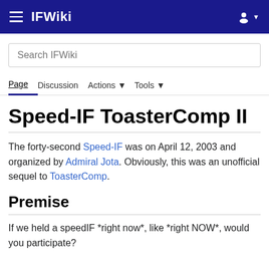IFWiki
Search IFWiki
Page  Discussion  Actions  Tools
Speed-IF ToasterComp II
The forty-second Speed-IF was on April 12, 2003 and organized by Admiral Jota. Obviously, this was an unofficial sequel to ToasterComp.
Premise
If we held a speedIF *right now*, like *right NOW*, would you participate?